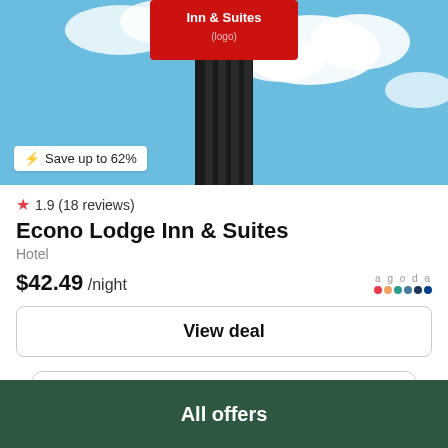[Figure (photo): Hotel outdoor sign for Econo Lodge Inn & Suites with red sign on black pillar, blue cloudy sky background. Badge overlay reads 'Save up to 62%'.]
1.9 (18 reviews)
Econo Lodge Inn & Suites
Hotel
$42.49 /night
View deal
All offers